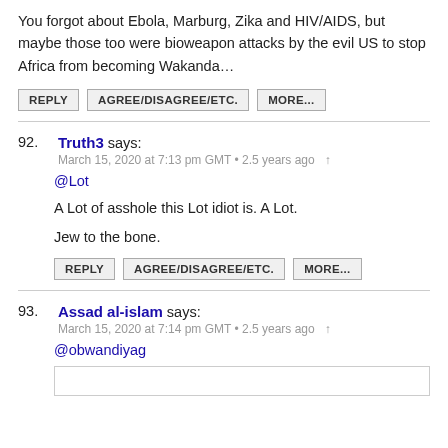You forgot about Ebola, Marburg, Zika and HIV/AIDS, but maybe those too were bioweapon attacks by the evil US to stop Africa from becoming Wakanda…
REPLY | AGREE/DISAGREE/ETC. | MORE...
92. Truth3 says:
March 15, 2020 at 7:13 pm GMT • 2.5 years ago ↑
@Lot
A Lot of asshole this Lot idiot is. A Lot.
Jew to the bone.
REPLY | AGREE/DISAGREE/ETC. | MORE...
93. Assad al-islam says:
March 15, 2020 at 7:14 pm GMT • 2.5 years ago ↑
@obwandiyag